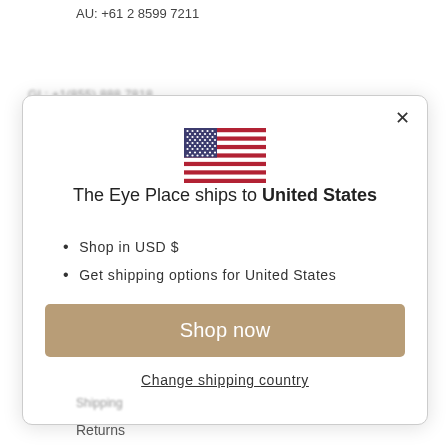AU: +61 2 8599 7211
GL: +1(855) 888 7818
[Figure (screenshot): Modal dialog showing US flag, shipping destination message, bullet points, Shop now button, and Change shipping country link]
Shipping
Returns